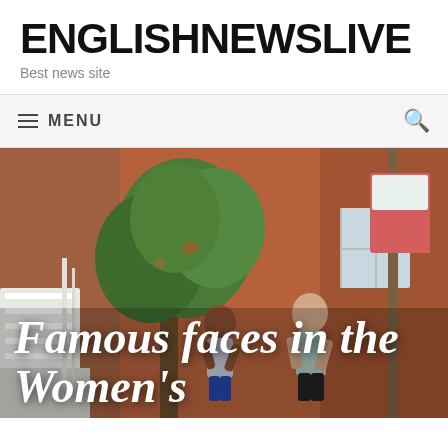ENGLISHNEWSLIVE
Best news site
≡ MENU
[Figure (photo): Two women running outdoors in front of a brick building with a tree, during what appears to be a road race or marathon event.]
Famous faces in the Women's